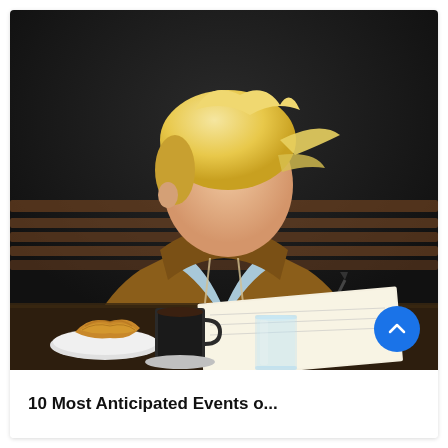[Figure (photo): A young person with short blonde hair, wearing a brown hoodie jacket over a light blue shirt, sitting at a cafe table, writing in a notebook. On the table are a croissant on a plate, a cup of coffee, and a glass of water. The background shows a dark wall and wooden bench seating. A blue circular scroll-up button is visible in the lower right corner of the photo.]
10 Most Anticipated Events o...